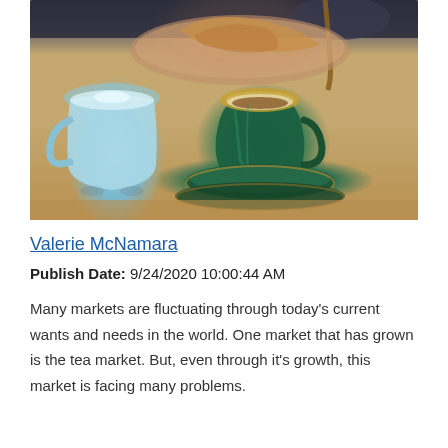[Figure (photo): A green tea cup with gold rim being filled with tea poured from above, alongside a white/light blue ceramic milk jug and pastries in the background on a warm wooden table surface.]
Valerie McNamara
Publish Date: 9/24/2020 10:00:44 AM
Many markets are fluctuating through today's current wants and needs in the world. One market that has grown is the tea market. But, even through it's growth, this market is facing many problems.